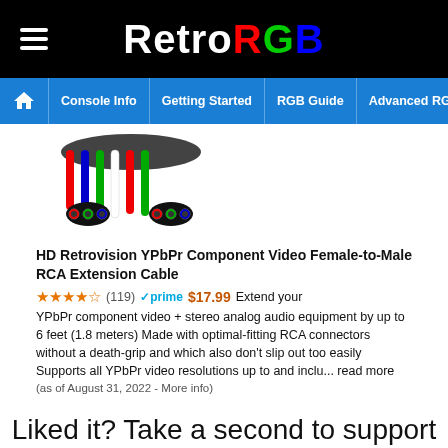RetroRGB
Console Info | Getting Started | RGB Guide | Advanced RGB Info | Ab
[Figure (photo): Photo of HD Retrovision YPbPr Component Video cable with multiple RCA connectors]
HD Retrovision YPbPr Component Video Female-to-Male RCA Extension Cable
★★★★½ (119) ✓prime $17.99 Extend your YPbPr component video + stereo analog audio equipment by up to 6 feet (1.8 meters) Made with optimal-fitting RCA connectors without a death-grip and which also don't slip out too easily Supports all YPbPr video resolutions up to and inclu... read more
(as of August 31, 2022 - More info)
Liked it? Take a second to support Bob on Patreon!